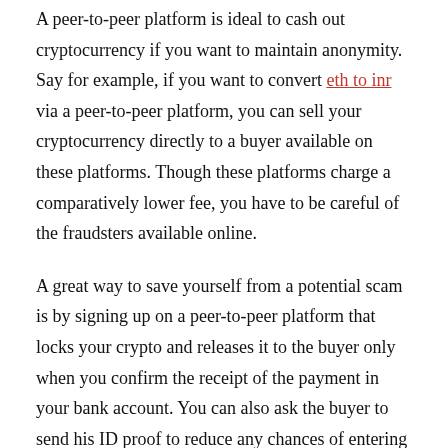A peer-to-peer platform is ideal to cash out cryptocurrency if you want to maintain anonymity. Say for example, if you want to convert eth to inr via a peer-to-peer platform, you can sell your cryptocurrency directly to a buyer available on these platforms. Though these platforms charge a comparatively lower fee, you have to be careful of the fraudsters available online.
A great way to save yourself from a potential scam is by signing up on a peer-to-peer platform that locks your crypto and releases it to the buyer only when you confirm the receipt of the payment in your bank account. You can also ask the buyer to send his ID proof to reduce any chances of entering into fraudulent transactions.